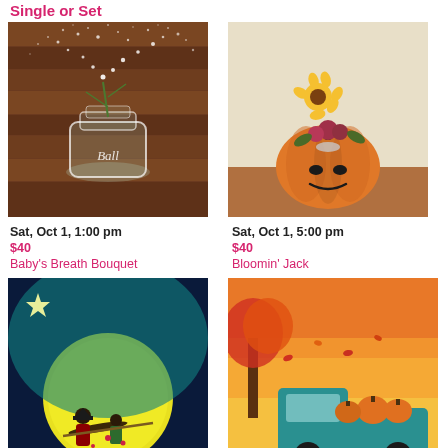Single or Set
[Figure (photo): Painting of a glowing Ball mason jar with baby's breath flowers dispersing in white dots against a wooden background]
[Figure (photo): Painting of a smiling jack-o-lantern pumpkin with sunflowers and roses on top, autumn floral arrangement]
Sat, Oct 1, 1:00 pm
$40
Baby's Breath Bouquet
Sat, Oct 1, 5:00 pm
$40
Bloomin' Jack
[Figure (photo): Painting of a witch riding a bicycle in front of a large full moon with a star in a night sky]
[Figure (photo): Painting of a teal vintage pickup truck loaded with pumpkins under autumn trees with falling red leaves]